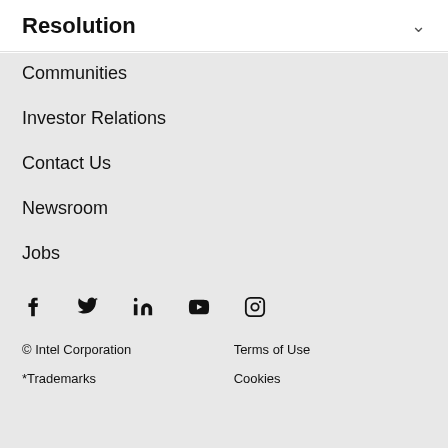Resolution
Communities
Investor Relations
Contact Us
Newsroom
Jobs
[Figure (illustration): Social media icons: Facebook, Twitter, LinkedIn, YouTube, Instagram]
© Intel Corporation    Terms of Use    *Trademarks    Cookies